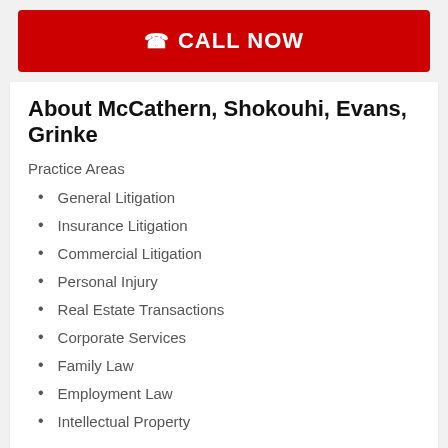CALL NOW
About McCathern, Shokouhi, Evans, Grinke
Practice Areas
General Litigation
Insurance Litigation
Commercial Litigation
Personal Injury
Real Estate Transactions
Corporate Services
Family Law
Employment Law
Intellectual Property
Ancillary Businesses
TreVista Group, L.P.